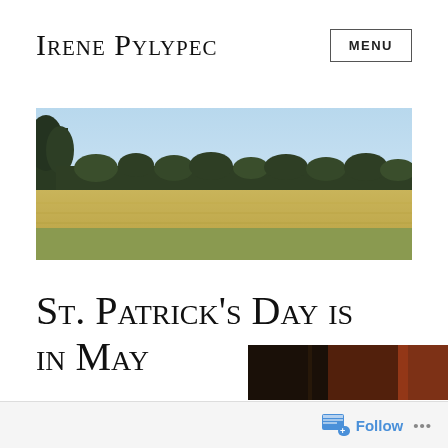Irene Pylypec
[Figure (photo): Wide landscape photo showing a golden grain field under a clear blue sky with a treeline of dark evergreens along the horizon, and trees on the left edge.]
St. Patrick's Day is in May
[Figure (photo): Partial view of a dark indoor photo, partially cropped at bottom of page.]
Follow ...